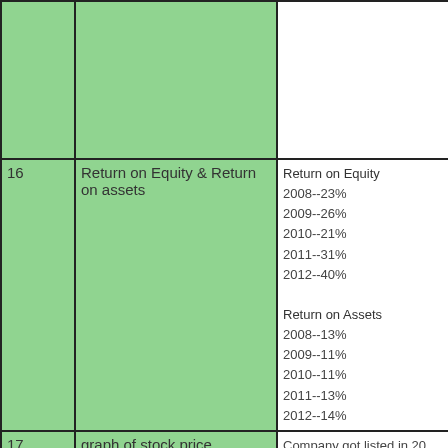| # | Chart/Figure | Data |
| --- | --- | --- |
|  |  |  |
| 16 | Return on Equity & Return on assets | Return on Equity
2008--23%
2009--26%
2010--21%
2011--31%
2012--40%

Return on Assets
2008--13%
2009--11%
2010--11%
2011--13%
2012--14% |
| 17 | graph of stock price | Company got listed in 20...
Since then stock price ha... |